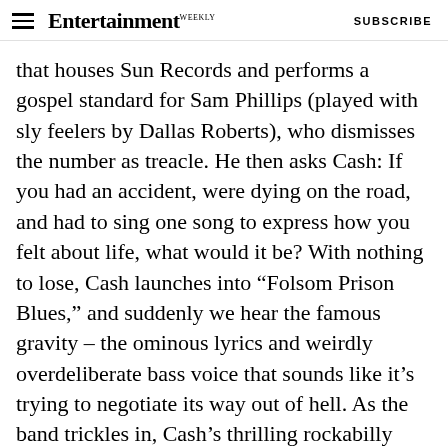Entertainment Weekly  SUBSCRIBE
that houses Sun Records and performs a gospel standard for Sam Phillips (played with sly feelers by Dallas Roberts), who dismisses the number as treacle. He then asks Cash: If you had an accident, were dying on the road, and had to sing one song to express how you felt about life, what would it be? With nothing to lose, Cash launches into “Folsom Prison Blues,” and suddenly we hear the famous gravity – the ominous lyrics and weirdly overdeliberate bass voice that sounds like it’s trying to negotiate its way out of hell. As the band trickles in, Cash’s thrilling rockabilly freight train leaves the station.
Ple...tion...distill his...r...is...r...d...i...d...